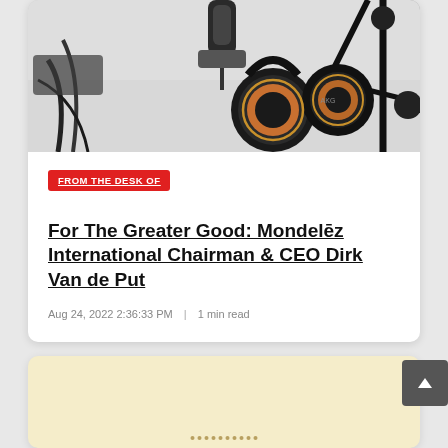[Figure (photo): Photo of podcast/recording studio setup with microphone, headphones (AKG brand, black and gold), cables, and boom arm on a light gray background]
FROM THE DESK OF
For The Greater Good: Mondelēz International Chairman & CEO Dirk Van de Put
Aug 24, 2022 2:36:33 PM  |  1 min read
[Figure (other): Bottom card with cream/yellow background showing partial dotted pattern, partially obscured]